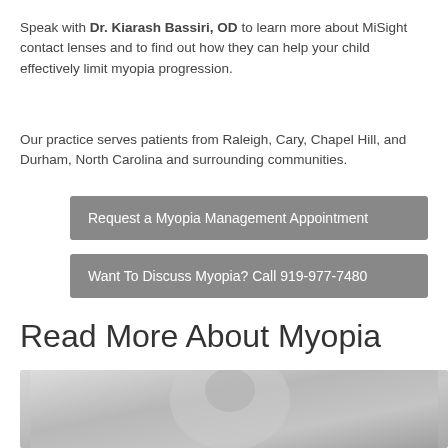Speak with Dr. Kiarash Bassiri, OD to learn more about MiSight contact lenses and to find out how they can help your child effectively limit myopia progression.
Our practice serves patients from Raleigh, Cary, Chapel Hill, and Durham, North Carolina and surrounding communities.
Request a Myopia Management Appointment
Want To Discuss Myopia? Call 919-977-7480
Read More About Myopia
[Figure (photo): A close-up photo of a child or person, partially visible, in light/white tones]